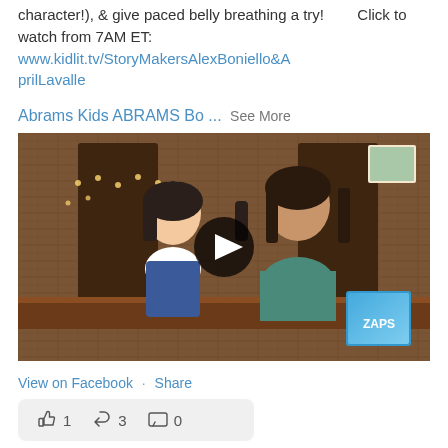character!), & give paced belly breathing a try!        Click to watch from 7AM ET: www.kidlit.tv/StoryMakersAlexBoniello&AprilLavalle
Abrams Kids ABRAMS Bo ... See More
[Figure (photo): Video thumbnail showing two people (a woman in a blue dress and a man in a teal shirt) sitting at a table in front of a brick wall with string lights, with a play button in the center and a book cover visible in the lower right corner.]
View on Facebook · Share
👍 1  🔁 3  💬 0